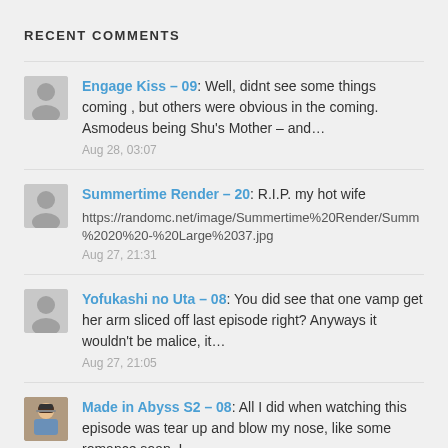RECENT COMMENTS
Engage Kiss – 09: Well, didnt see some things coming , but others were obvious in the coming. Asmodeus being Shu's Mother – and… Aug 28, 03:07
Summertime Render – 20: R.I.P. my hot wife https://randomc.net/image/Summertime%20Render/Summ%2020%20-%20Large%2037.jpg Aug 27, 21:31
Yofukashi no Uta – 08: You did see that one vamp get her arm sliced off last episode right? Anyways it wouldn't be malice, it… Aug 27, 21:05
Made in Abyss S2 – 08: All I did when watching this episode was tear up and blow my nose, like some romance soap. I